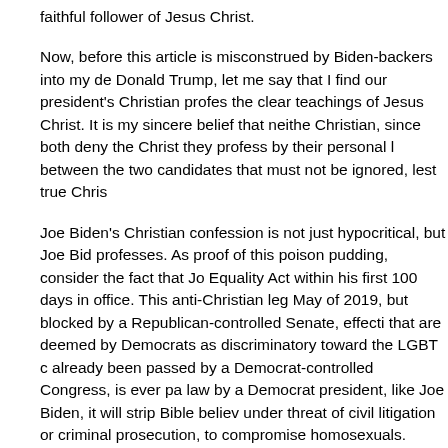faithful follower of Jesus Christ.
Now, before this article is misconstrued by Biden-backers into my de Donald Trump, let me say that I find our president's Christian profes the clear teachings of Jesus Christ. It is my sincere belief that neithe Christian, since both deny the Christ they profess by their personal l between the two candidates that must not be ignored, lest true Chris
Joe Biden's Christian confession is not just hypocritical, but Joe Bid professes. As proof of this poison pudding, consider the fact that Jo Equality Act within his first 100 days in office. This anti-Christian leg May of 2019, but blocked by a Republican-controlled Senate, effecti that are deemed by Democrats as discriminatory toward the LGBT c already been passed by a Democrat-controlled Congress, is ever pa law by a Democrat president, like Joe Biden, it will strip Bible believ under threat of civil litigation or criminal prosecution, to compromise homosexuals.
Joe Biden has proudly and publicly proclaimed, "Transgender equal avow that "there is no room for compromise when it comes to [such] Biden, without exception, all Christian beliefs contrary to homosexua citizens are to be coerced into conformity to the LGBT community's mandatory Democrat dictates are to be forever silenced.
While neither presidential candidate is true to their Christian profess these two presidential candidates, since one is openly hostile towar and vote for Joe Biden, is for him or her to vote for the outlawing of practical purposes, to vote to criminalize the Gospel, which Christ ha including Christian Sonic Organizations the single act of b